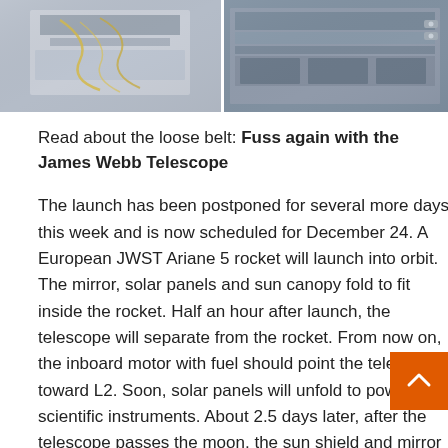[Figure (photo): Two photos side by side showing parts of the James Webb Space Telescope hardware — metallic structural components and electronic equipment in a cleanroom environment.]
Read about the loose belt: Fuss again with the James Webb Telescope
The launch has been postponed for several more days this week and is now scheduled for December 24. A European JWST Ariane 5 rocket will launch into orbit. The mirror, solar panels and sun canopy fold to fit inside the rocket. Half an hour after launch, the telescope will separate from the rocket. From now on, the inboard motor with fuel should point the telescope toward L2. Soon, solar panels will unfold to power the scientific instruments. About 2.5 days later, after the telescope passes the moon, the sun shield and mirror will also open.